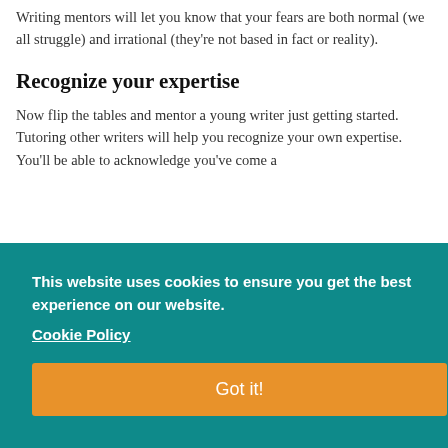Writing mentors will let you know that your fears are both normal (we all struggle) and irrational (they're not based in fact or reality).
Recognize your expertise
Now flip the tables and mentor a young writer just getting started. Tutoring other writers will help you recognize your own expertise. You'll be able to acknowledge you've come a
This website uses cookies to ensure you get the best experience on our website. Cookie Policy Got it!